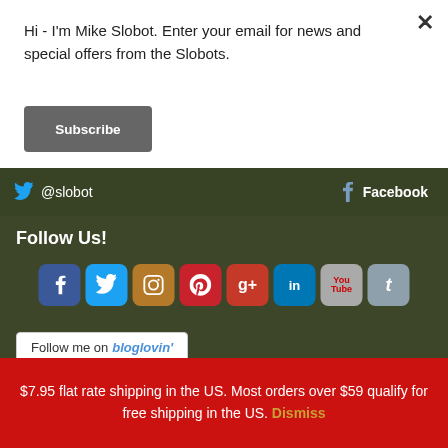Hi - I'm Mike Slobot. Enter your email for news and special offers from the Slobots.
Subscribe
@slobot
Facebook
Follow Us!
[Figure (other): Row of social media icon buttons: Facebook, Twitter, Instagram, Pinterest, Google+, LinkedIn, YouTube, Tumblr]
Follow me on bloglovin'
$7.95 flat rate shipping in the US. Most orders over $59 qualify for free shipping in the US. Dismiss